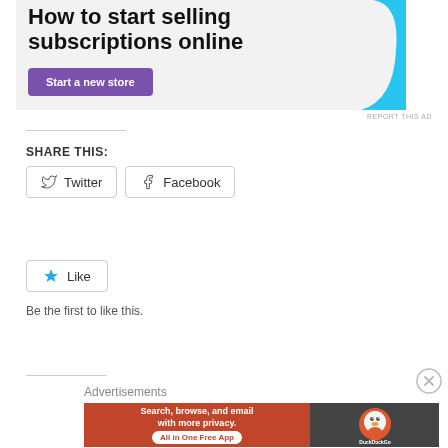[Figure (screenshot): Top advertisement banner showing 'How to start selling subscriptions online' with a purple 'Start a new store' button and a cyan decorative blob shape on the right, on a light gray background.]
REPORT THIS AD
SHARE THIS:
Twitter  Facebook (share buttons)
Like
Be the first to like this.
Advertisements
[Figure (screenshot): Bottom advertisement banner for DuckDuckGo: orange left panel with white text 'Search, browse, and email with more privacy. All in One Free App', dark right panel with DuckDuckGo logo.]
REPORT THIS AD